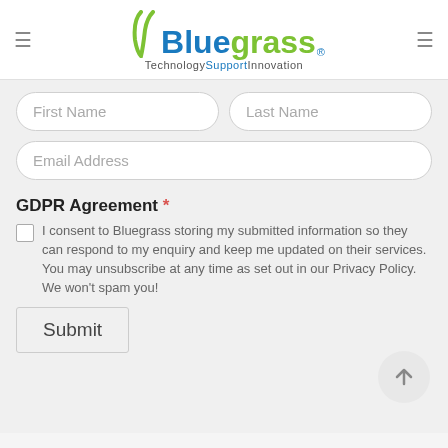[Figure (logo): Bluegrass Technology Support Innovation logo with stylized checkmark, blue and green text]
First Name
Last Name
Email Address
GDPR Agreement *
I consent to Bluegrass storing my submitted information so they can respond to my enquiry and keep me updated on their services. You may unsubscribe at any time as set out in our Privacy Policy. We won't spam you!
Submit
RECENT POSTS